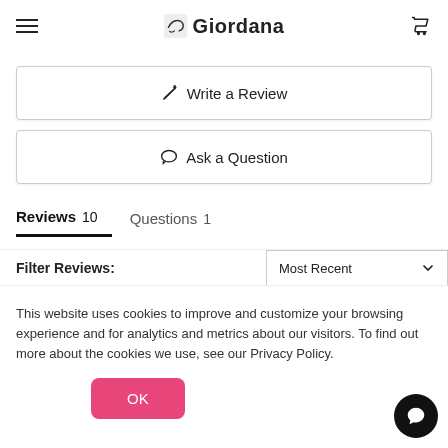Giordana
Write a Review
Ask a Question
Reviews 10    Questions 1
Filter Reviews:    Most Recent
This website uses cookies to improve and customize your browsing experience and for analytics and metrics about our visitors. To find out more about the cookies we use, see our Privacy Policy.
OK